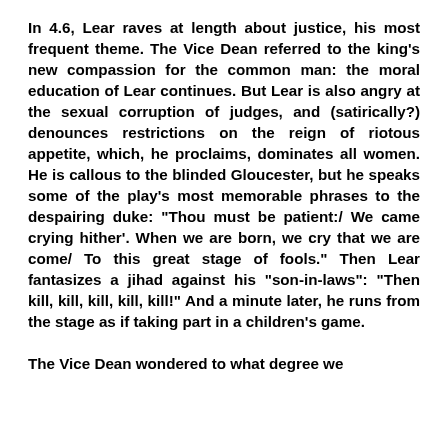In 4.6, Lear raves at length about justice, his most frequent theme. The Vice Dean referred to the king's new compassion for the common man: the moral education of Lear continues. But Lear is also angry at the sexual corruption of judges, and (satirically?) denounces restrictions on the reign of riotous appetite, which, he proclaims, dominates all women. He is callous to the blinded Gloucester, but he speaks some of the play's most memorable phrases to the despairing duke: "Thou must be patient:/ We came crying hither'. When we are born, we cry that we are come/ To this great stage of fools." Then Lear fantasizes a jihad against his "son-in-laws": "Then kill, kill, kill, kill, kill!" And a minute later, he runs from the stage as if taking part in a children's game.
The Vice Dean wondered to what degree we are to observe the foolery still at work the...